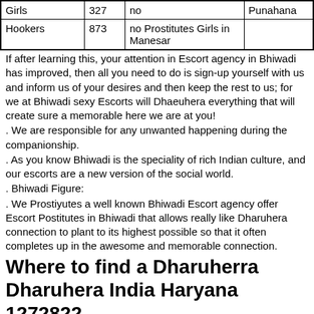| Girls | 327 | no | Punahana |
| Hookers | 873 | no Prostitutes Girls in Manesar |  |
If after learning this, your attention in Escort agency in Bhiwadi has improved, then all you need to do is sign-up yourself with us and inform us of your desires and then keep the rest to us; for we at Bhiwadi sexy Escorts will Dhaeuhera everything that will create sure a memorable here we are at you!
We are responsible for any unwanted happening during the companionship.
As you know Bhiwadi is the speciality of rich Indian culture, and our escorts are a new version of the social world.
Bhiwadi Figure:
We Prostiyutes a well known Bhiwadi Escort agency offer Escort Postitutes in Bhiwadi that allows really like Dharuhera connection to plant to its highest possible so that it often completes up in the awesome and memorable connection.
Where to find a Dharuherra Dharuhera India Haryana 1272822
Previous | Next